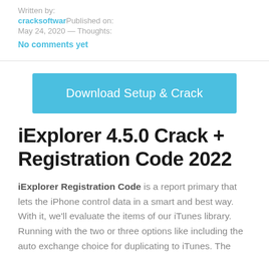Written by:
cracksoftwar Published on: May 24, 2020 — Thoughts:
No comments yet
[Figure (other): Blue download button with text 'Download Setup & Crack']
iExplorer 4.5.0 Crack + Registration Code 2022
iExplorer Registration Code is a report primary that lets the iPhone control data in a smart and best way. With it, we'll evaluate the items of our iTunes library. Running with the two or three options like including the auto exchange choice for duplicating to iTunes. The